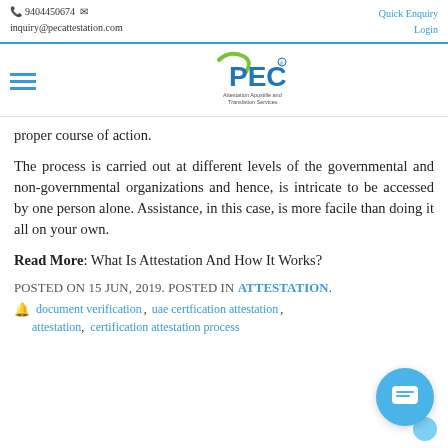9404450674  inquiry@pecattestation.com   Quick Enquiry  Login
[Figure (logo): PEC logo with tagline: Attestation Apostille and Translation Services]
proper course of action.
The process is carried out at different levels of the governmental and non-governmental organizations and hence, is intricate to be accessed by one person alone. Assistance, in this case, is more facile than doing it all on your own.
Read More: What Is Attestation And How It Works?
POSTED ON 15 JUN, 2019. POSTED IN ATTESTATION.
document verification, uae certfication attestation, attestation, certification attestation process